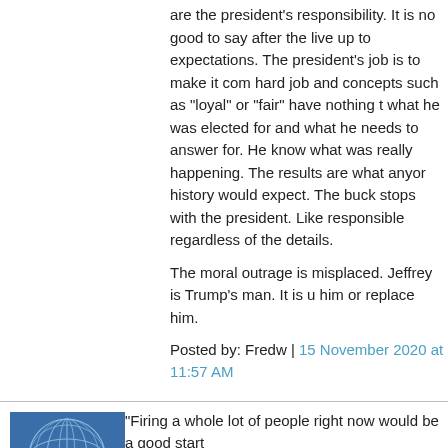are the president's responsibility. It is no good to say after the live up to expectations. The president's job is to make it com hard job and concepts such as "loyal" or "fair" have nothing t what he was elected for and what he needs to answer for. He know what was really happening. The results are what anyor history would expect. The buck stops with the president. Like responsible regardless of the details.
The moral outrage is misplaced. Jeffrey is Trump's man. It is u him or replace him.
Posted by: Fredw | 15 November 2020 at 11:57 AM
[Figure (illustration): Avatar image with blue/teal globe/network pattern on dark blue background]
"Firing a whole lot of people right now would be a good start
That is ridiculous. Firing a whole lot of people right now woul which he acknowledges that he has failed as a manager of th re-elected president has some areas which haven't worked o the pentagon and homeland security are pretty important to o Failure in those constitutes a pretty strong argument against
Now if he can actually accomplish something in the time rema people, that would be a different story. I don't get the feeling t